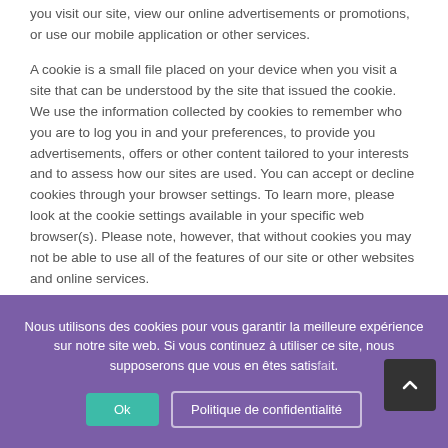you visit our site, view our online advertisements or promotions, or use our mobile application or other services.
A cookie is a small file placed on your device when you visit a site that can be understood by the site that issued the cookie. We use the information collected by cookies to remember who you are to log you in and your preferences, to provide you advertisements, offers or other content tailored to your interests and to assess how our sites are used. You can accept or decline cookies through your browser settings. To learn more, please look at the cookie settings available in your specific web browser(s). Please note, however, that without cookies you may not be able to use all of the features of our site or other websites and online services.
The following are examples of information we may collect with these technologies :
Nous utilisons des cookies pour vous garantir la meilleure expérience sur notre site web. Si vous continuez à utiliser ce site, nous supposerons que vous en êtes satisfait.